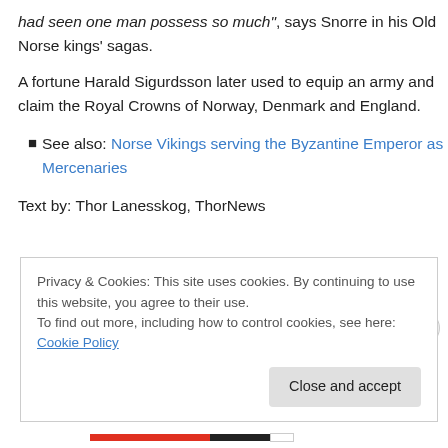had seen one man possess so much", says Snorre in his Old Norse kings' sagas.
A fortune Harald Sigurdsson later used to equip an army and claim the Royal Crowns of Norway, Denmark and England.
See also: Norse Vikings serving the Byzantine Emperor as Mercenaries
Text by: Thor Lanesskog, ThorNews
Privacy & Cookies: This site uses cookies. By continuing to use this website, you agree to their use.
To find out more, including how to control cookies, see here: Cookie Policy